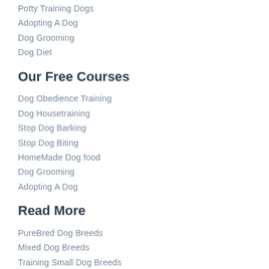Potty Training Dogs
Adopting A Dog
Dog Grooming
Dog Diet
Our Free Courses
Dog Obedience Training
Dog Housetraining
Stop Dog Barking
Stop Dog Biting
HomeMade Dog food
Dog Grooming
Adopting A Dog
Read More
PureBred Dog Breeds
Mixed Dog Breeds
Training Small Dog Breeds
Training Medium Dog Breeds
Training Large Dog Breeds
Exercising Your Dog
Dog Health
More Articles